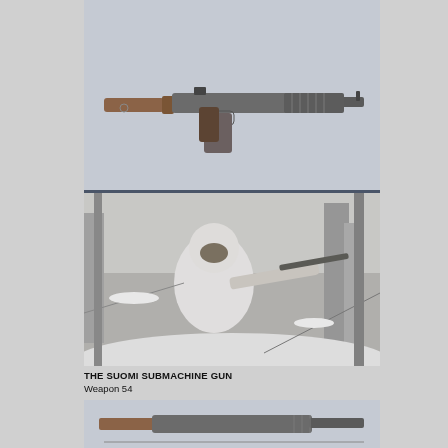[Figure (photo): Book cover top portion showing a Suomi submachine gun on a light grey background]
THE SUOMI SUBMACHINE GUN
LEROY THOMPSON
[Figure (photo): Black and white photograph of a Finnish soldier in white winter camouflage aiming a Suomi submachine gun in snowy forest]
THE SUOMI SUBMACHINE GUN
Weapon 54
[Figure (photo): Bottom portion of another book cover showing a submachine gun on light background, partially cropped]